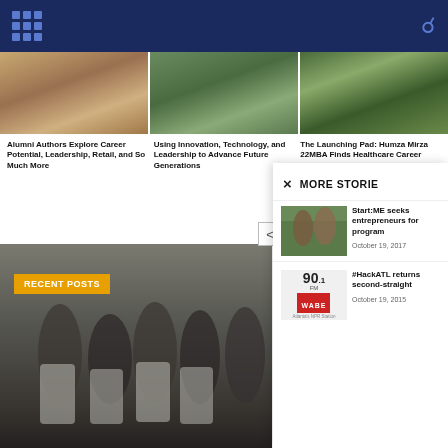Emory Business school navigation header
[Figure (photo): Three article thumbnail photos side by side: alumni authors, innovation/technology group, and Humza Mirza portrait]
Alumni Authors Explore Career Potential, Leadership, Retail, and So Much More
Using Innovation, Technology, and Leadership to Advance Future Generations
The Launching Pad: Humza Mirza 22MBA Finds Healthcare Career Solutions
[Figure (photo): Group of people in kitchen aprons and hairnets giving thumbs up, with RECENT POSTS badge overlay]
RECENT POSTS
MORE STORIES
[Figure (photo): Two people shaking hands outdoors thumbnail for Start:ME story]
Start:ME seeks entrepreneurs for program
October 19, 2017
[Figure (logo): 90.1 FM WABE Atlanta's NPR Station logo]
#HackATL returns second-straight
October 19, 2015